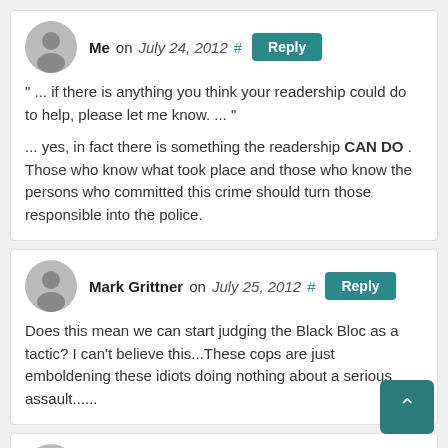Me on July 24, 2012 # Reply
" ... if there is anything you think your readership could do to help, please let me know. ... "

... yes, in fact there is something the readership CAN DO . Those who know what took place and those who know the persons who committed this crime should turn those responsible into the police.
Mark Grittner on July 25, 2012 # Reply
Does this mean we can start judging the Black Bloc as a tactic? I can't believe this...These cops are just emboldening these idiots doing nothing about a serious assault......
Tamara D. on August 1, 2012 # Reply